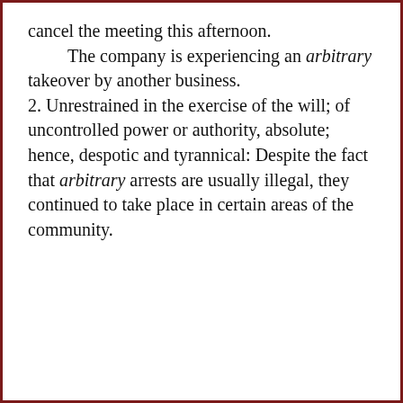cancel the meeting this afternoon. The company is experiencing an arbitrary takeover by another business. 2. Unrestrained in the exercise of the will; of uncontrolled power or authority, absolute; hence, despotic and tyrannical: Despite the fact that arbitrary arrests are usually illegal, they continued to take place in certain areas of the community.